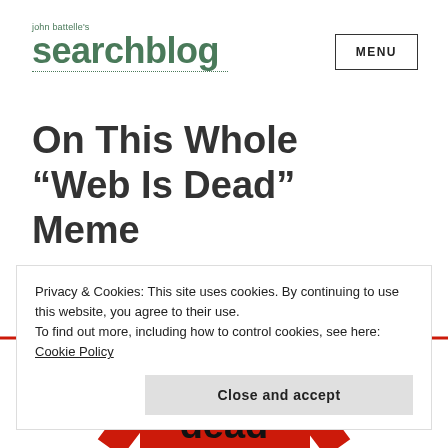john battelle's searchblog
On This Whole “Web Is Dead” Meme
[Figure (illustration): Partial view of a 'Web Is Dead' graphic with red arc/rainbow shapes and bold black text 'dead' on red background]
Privacy & Cookies: This site uses cookies. By continuing to use this website, you agree to their use.
To find out more, including how to control cookies, see here: Cookie Policy
Close and accept